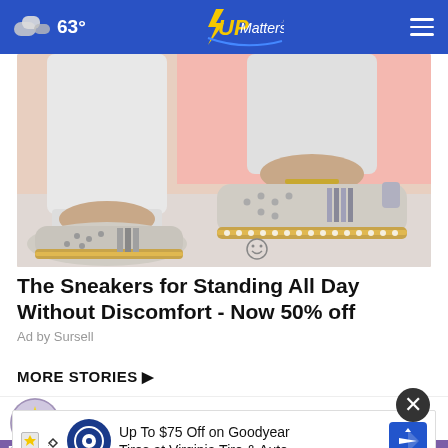63° UPMatters.com
[Figure (photo): Photo of feet wearing silver/white sneakers with studded espadrille soles, against a pink background, with white jeans]
The Sneakers for Standing All Day Without Discomfort - Now 50% off
Ad by Sursell
MORE STORIES ›
Project Lifesaver credited with
[Figure (logo): Project Lifesaver logo badge]
[Figure (screenshot): Bottom advertisement banner: Up To $75 Off on Goodyear Tires at Virginia Tire & Auto]
Dead body found in wooded area in